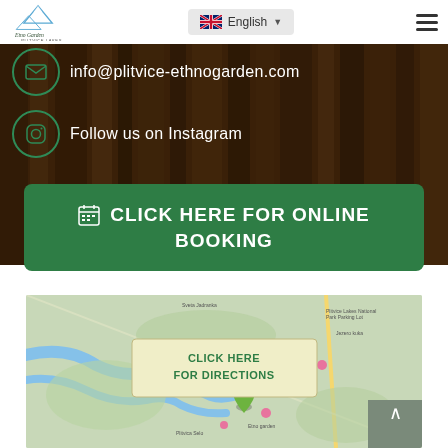[Figure (logo): Etno Garden Plitvice Lakes logo with mountain graphic]
English (language selector dropdown)
info@plitvice-ethnogarden.com
Follow us on Instagram
CLICK HERE FOR ONLINE BOOKING
[Figure (map): Google Maps screenshot showing location near Plitvice Lakes with a pin marker and CLICK HERE FOR DIRECTIONS overlay button]